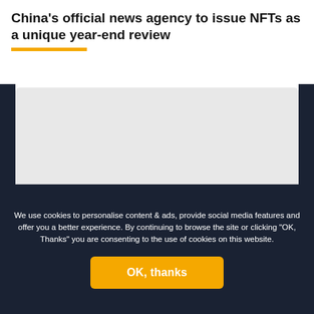China's official news agency to issue NFTs as a unique year-end review
[Figure (photo): Placeholder image area with light gray background, flanked by dark navy side panels]
NFTs and decentralised identities are a reflection of the kind of use cases crypto-based technologies will offer in the future
We use cookies to personalise content & ads, provide social media features and offer you a better experience. By continuing to browse the site or clicking "OK, Thanks" you are consenting to the use of cookies on this website.
OK, thanks